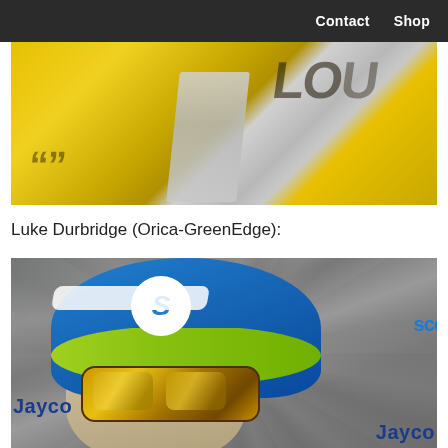Contact  Shop
[Figure (photo): Close-up photo of yellow cycling equipment with dark lettering, appears to be a bicycle or helmet with 'LOU' branding visible]
Luke Durbridge (Orica-GreenEdge):
[Figure (photo): Portrait photo of cyclist Luke Durbridge wearing a blue and green Scott time trial helmet with gold mirrored goggles and Jayco team kit]